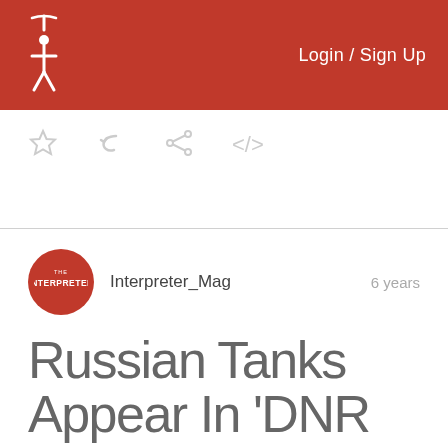Login / Sign Up
[Figure (screenshot): Toolbar icons: star, reply/back arrow, share, embed code brackets]
[Figure (logo): The Interpreter magazine circular logo in red with white text]
Interpreter_Mag
6 years
Russian Tanks Appear In 'DNR